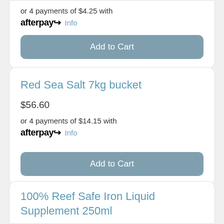or 4 payments of $4.25 with afterpay Info
[Figure (other): Add to Cart button, steel blue rounded rectangle]
Red Sea Salt 7kg bucket
$56.60
or 4 payments of $14.15 with afterpay Info
[Figure (other): Add to Cart button, steel blue rounded rectangle]
100% Reef Safe Iron Liquid Supplement 250ml